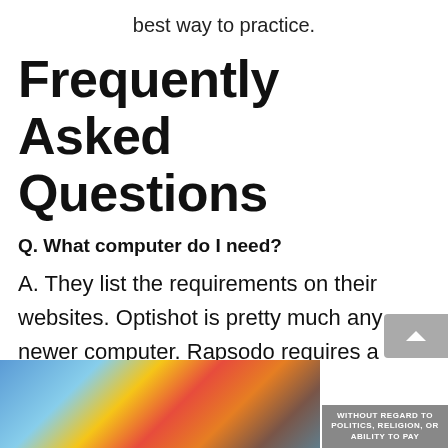best way to practice.
Frequently Asked Questions
Q. What computer do I need?
A. They list the requirements on their websites. Optishot is pretty much any newer computer. Rapsodo requires a pretty good computer.
[Figure (photo): Advertisement banner showing an airplane being loaded with cargo, with overlay text 'WITHOUT REGARD TO POLITICS, RELIGION, OR ABILITY TO PAY']